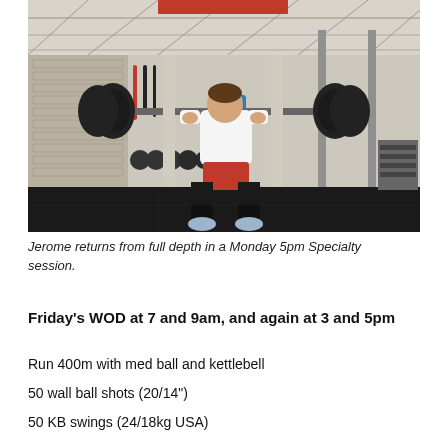[Figure (photo): A man in a white t-shirt and red shorts performs a back squat with a heavy barbell in a gym setting. Kettlebells and weight plates are visible in the background. The gym has a white roof and dark rubber flooring.]
Jerome returns from full depth in a Monday 5pm Specialty session.
Friday's WOD at 7 and 9am, and again at 3 and 5pm
Run 400m with med ball and kettlebell
50 wall ball shots (20/14")
50 KB swings (24/18kg USA)